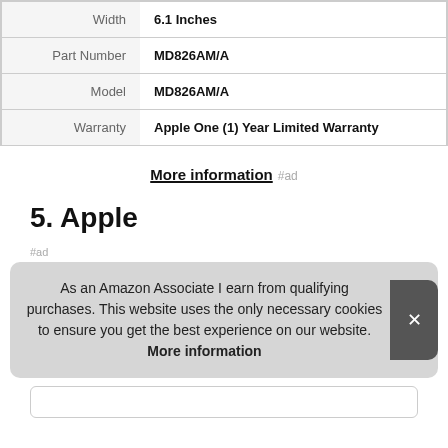| Property | Value |
| --- | --- |
| Width | 6.1 Inches |
| Part Number | MD826AM/A |
| Model | MD826AM/A |
| Warranty | Apple One (1) Year Limited Warranty |
More information #ad
5. Apple
#ad
As an Amazon Associate I earn from qualifying purchases. This website uses the only necessary cookies to ensure you get the best experience on our website. More information